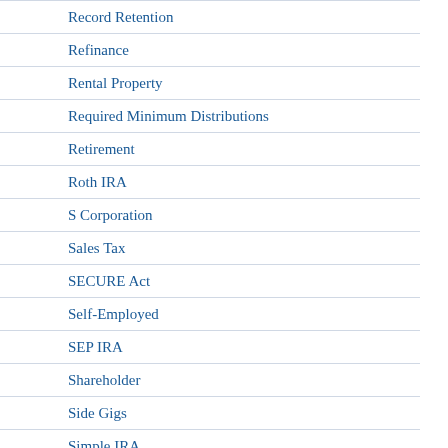Record Retention
Refinance
Rental Property
Required Minimum Distributions
Retirement
Roth IRA
S Corporation
Sales Tax
SECURE Act
Self-Employed
SEP IRA
Shareholder
Side Gigs
Simple IRA
Small Business
Social Media
Social Security
Standard Mileage Rate
Standard Operating Procedures